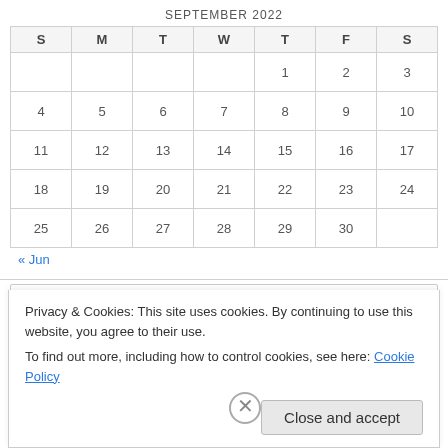SEPTEMBER 2022
| S | M | T | W | T | F | S |
| --- | --- | --- | --- | --- | --- | --- |
|  |  |  |  | 1 | 2 | 3 |
| 4 | 5 | 6 | 7 | 8 | 9 | 10 |
| 11 | 12 | 13 | 14 | 15 | 16 | 17 |
| 18 | 19 | 20 | 21 | 22 | 23 | 24 |
| 25 | 26 | 27 | 28 | 29 | 30 |  |
« Jun
Search
Privacy & Cookies: This site uses cookies. By continuing to use this website, you agree to their use.
To find out more, including how to control cookies, see here: Cookie Policy
Close and accept